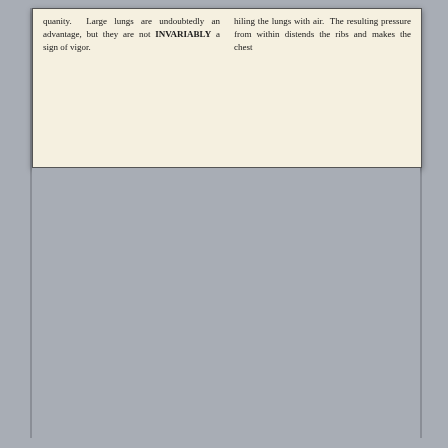quanity. Large lungs are undoubtedly an advantage, but they are not INVARIABLY a sign of vigor. hiling the lungs with air. The resulting pressure from within distends the ribs and makes the chest
[Figure (photo): Gray background area representing the back cover or blank page of an open book, photographed from above.]